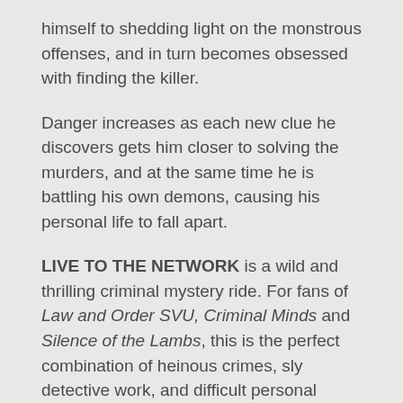himself to shedding light on the monstrous offenses, and in turn becomes obsessed with finding the killer.
Danger increases as each new clue he discovers gets him closer to solving the murders, and at the same time he is battling his own demons, causing his personal life to fall apart.
LIVE TO THE NETWORK is a wild and thrilling criminal mystery ride. For fans of Law and Order SVU, Criminal Minds and Silence of the Lambs, this is the perfect combination of heinous crimes, sly detective work, and difficult personal journeys.
Author Jeffrey Diamond knows firsthand what goes on behind the scenes in television broadcast news. With 40 years of experience under his belt, he offers up a vivid, frightening look at sex trafficking and inappropriate